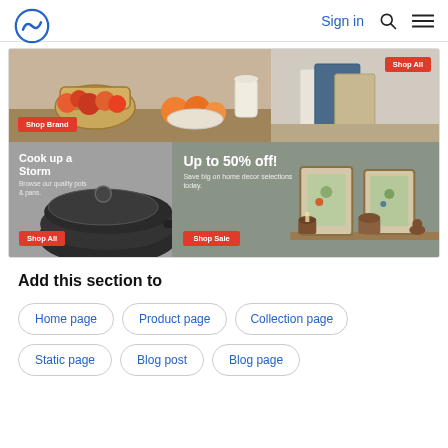Sign in [search icon] [menu icon]
[Figure (screenshot): E-commerce promotional banner with two rows. Top row: left panel showing fruits and kitchenware with 'Shop Brand' button, right panel with notebooks/stationery and 'Shop All' button. Bottom row: left panel showing a dark pan with 'Cook up a Storm / Browse our quality pots & pans' text and 'Shop All' button; right panel with sage green background showing 'Up to 50% off! Save big on home decor selections today.' with 'Shop Sale' button and framed botanical prints on a shelf.]
Add this section to
Home page
Product page
Collection page
Static page
Blog post
Blog page